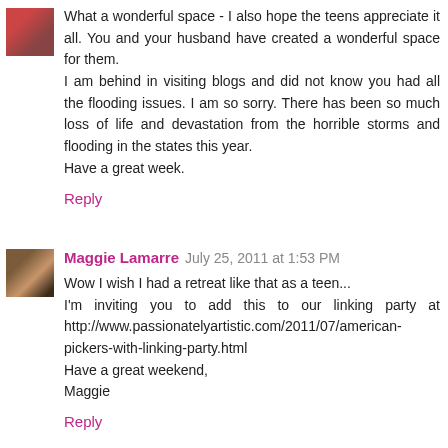What a wonderful space - I also hope the teens appreciate it all. You and your husband have created a wonderful space for them.
I am behind in visiting blogs and did not know you had all the flooding issues. I am so sorry. There has been so much loss of life and devastation from the horrible storms and flooding in the states this year.
Have a great week.
Reply
Maggie Lamarre  July 25, 2011 at 1:53 PM
Wow I wish I had a retreat like that as a teen...
I'm inviting you to add this to our linking party at http://www.passionatelyartistic.com/2011/07/american-pickers-with-linking-party.html
Have a great weekend,
Maggie
Reply